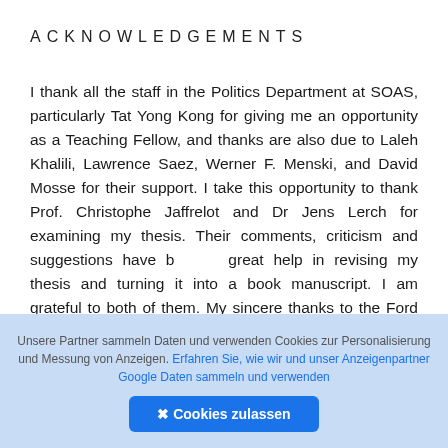ACKNOWLEDGEMENTS
I thank all the staff in the Politics Department at SOAS, particularly Tat Yong Kong for giving me an opportunity as a Teaching Fellow, and thanks are also due to Laleh Khalili, Lawrence Saez, Werner F. Menski, and David Mosse for their support. I take this opportunity to thank Prof. Christophe Jaffrelot and Dr Jens Lerch for examining my thesis. Their comments, criticism and suggestions have been a great help in revising my thesis and turning it into a book manuscript. I am grateful to both of them. My sincere thanks to the Ford Foundation for
Unsere Partner sammeln Daten und verwenden Cookies zur Personalisierung und Messung von Anzeigen. Erfahren Sie, wie wir und unser Anzeigenpartner Google Daten sammeln und verwenden
✕ Cookies zulassen